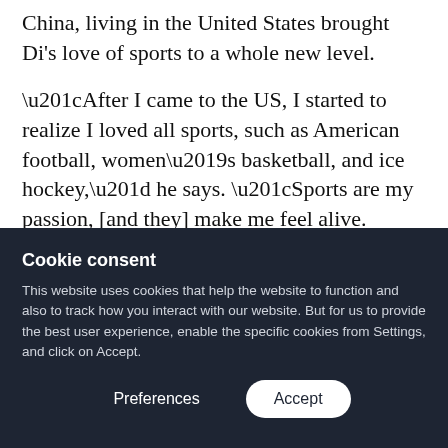China, living in the United States brought Di's love of sports to a whole new level.
“After I came to the US, I started to realize I loved all sports, such as American football, women’s basketball, and ice hockey,” he says. “Sports are my passion, [and they] make me feel alive. [They’re] so exciting.”
Combining his personal passion with his
Cookie consent
This website uses cookies that help the website to function and also to track how you interact with our website. But for us to provide the best user experience, enable the specific cookies from Settings, and click on Accept.
Preferences   Accept